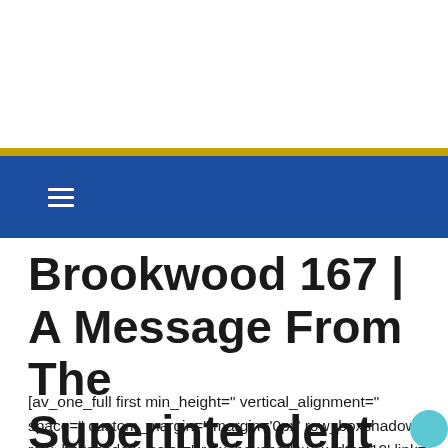Brookwood 167 | A Message From The Superintendent
[av_one_full first min_height=" vertical_alignment=" space=" custom_margin=" margin='0px' row_boxshadow=" row_boxshadow_color=" row_boxshadow_width='10' link="